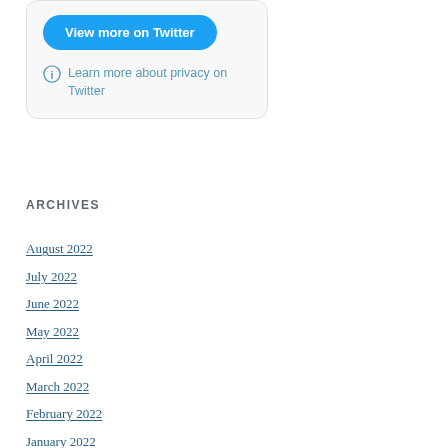[Figure (screenshot): Twitter embedded widget card with a blue 'View more on Twitter' button and a privacy info link below it]
ARCHIVES
August 2022
July 2022
June 2022
May 2022
April 2022
March 2022
February 2022
January 2022
December 2021